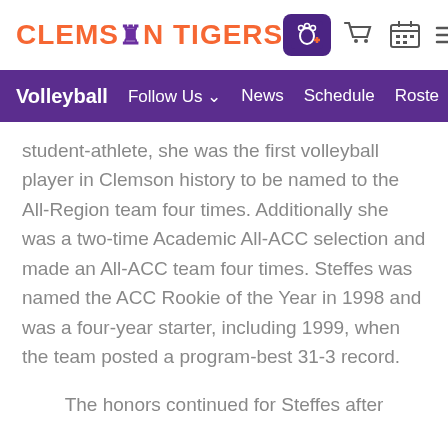CLEMSON TIGERS
Volleyball  Follow Us  News  Schedule  Roste
student-athlete, she was the first volleyball player in Clemson history to be named to the All-Region team four times. Additionally she was a two-time Academic All-ACC selection and made an All-ACC team four times. Steffes was named the ACC Rookie of the Year in 1998 and was a four-year starter, including 1999, when the team posted a program-best 31-3 record.
The honors continued for Steffes after